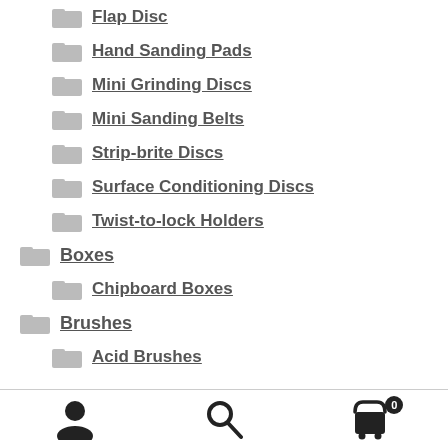Flap Disc
Hand Sanding Pads
Mini Grinding Discs
Mini Sanding Belts
Strip-brite Discs
Surface Conditioning Discs
Twist-to-lock Holders
Boxes
Chipboard Boxes
Brushes
Acid Brushes
user | search | cart 0